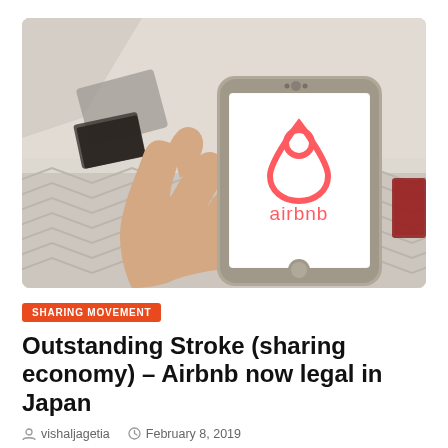[Figure (photo): A hand holding a smartphone displaying the Airbnb logo (pink/red Airbnb 'bélo' symbol and 'airbnb' text) against a blurred bedroom background with white bedding.]
SHARING MOVEMENT
Outstanding Stroke (sharing economy) – Airbnb now legal in Japan
vishaljagetia   February 8, 2019